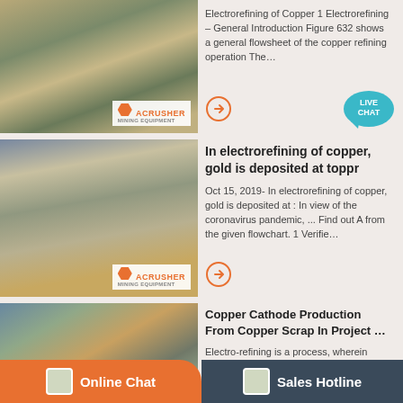[Figure (photo): Mining/quarry site with excavator and rocky terrain, ACRUSHER mining equipment logo overlay]
Electrorefining of Copper 1 Electrorefining – General Introduction Figure 632 shows a general flowsheet of the copper refining operation The…
[Figure (photo): Mining conveyor and processing equipment on hillside, ACRUSHER mining equipment logo overlay]
In electrorefining of copper, gold is deposited at toppr
Oct 15, 2019- In electrorefining of copper, gold is deposited at : In view of the coronavirus pandemic, ... Find out A from the given flowchart. 1 Verifie…
[Figure (photo): Industrial mining processing tower and conveyor structure with mountain background, ACRUSHER logo]
Copper Cathode Production From Copper Scrap In Project …
Electro-refining is a process, wherein copper ore is carried out in the presence of using aqueous solution for extracting pure form of copper…
Online Chat | Sales Hotline